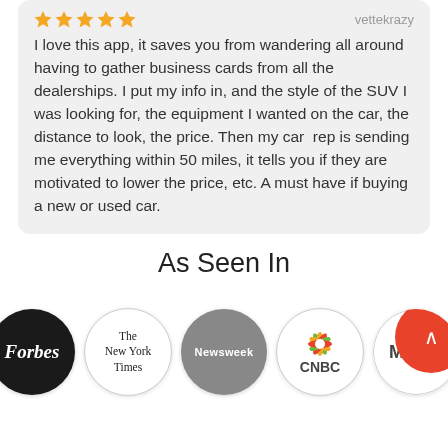I love this app, it saves you from wandering all around having to gather business cards from all the dealerships. I put my info in, and the style of the SUV I was looking for, the equipment I wanted on the car, the distance to look, the price. Then my car  rep is sending me everything within 50 miles, it tells you if they are motivated to lower the price, etc. A must have if buying a new or used car.
As Seen In
[Figure (logo): Row of media logos: Forbes (black circle), The New York Times (white circle), Newsweek (gray circle), CNBC (white circle with peacock icon), and a partially visible logo with red scroll button overlay]